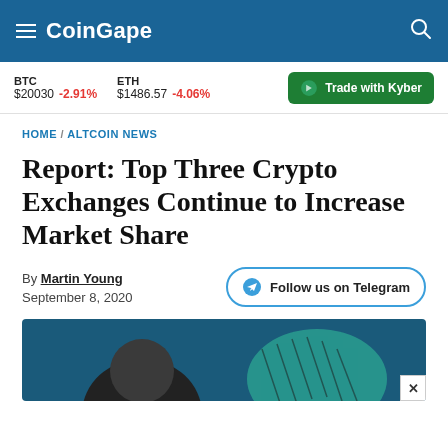CoinGape
BTC $20030 -2.91%  ETH $1486.57 -4.06%  Trade with Kyber
HOME / ALTCOIN NEWS
Report: Top Three Crypto Exchanges Continue to Increase Market Share
By Martin Young
September 8, 2020
[Figure (photo): Article header photo showing a person in front of a teal/dark background]